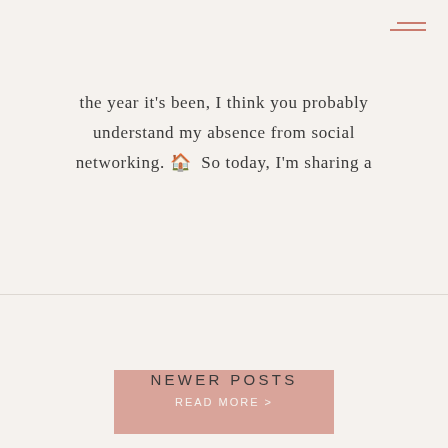[Figure (other): Hamburger/navigation menu icon with two horizontal lines in dusty rose/salmon color, positioned top right]
the year it's been, I think you probably understand my absence from social networking. 🏠 So today, I'm sharing a
READ MORE >
NEWER POSTS